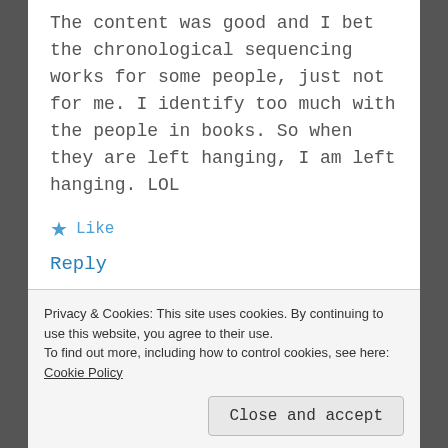The content was good and I bet the chronological sequencing works for some people, just not for me. I identify too much with the people in books. So when they are left hanging, I am left hanging. LOL
★ Like
Reply
sherijkennedyriverside
JUNE 2, 2015 AT 2:22 PM
Privacy & Cookies: This site uses cookies. By continuing to use this website, you agree to their use.
To find out more, including how to control cookies, see here: Cookie Policy
Close and accept